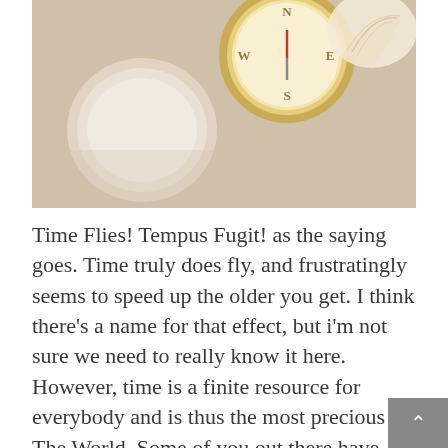[Figure (photo): Photo of vintage gold pocket watches and compass with a seashell on a beige/cream background. Items are slightly blurred with shallow depth of field.]
Time Flies! Tempus Fugit! as the saying goes. Time truly does fly, and frustratingly seems to speed up the older you get. I think there's a name for that effect, but i'm not sure we need to really know it here. However, time is a finite resource for everybody and is thus the most precious in The World. Some of you out there have more of it left than others, but you can never be sure. The man with the big scythe always pops up uninvited. We don't make best